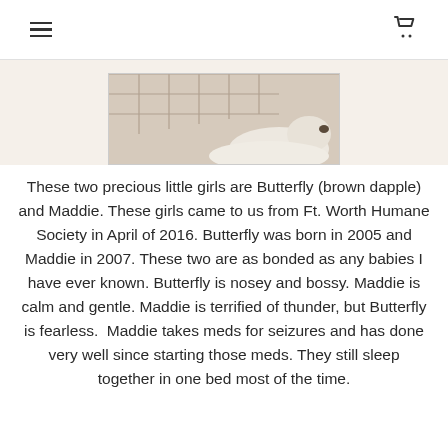≡  🛒
[Figure (photo): Partial photo of a dog (likely white/cream colored) visible at the bottom of a cropped image showing a wire cage/crate in the background.]
These two precious little girls are Butterfly (brown dapple) and Maddie. These girls came to us from Ft. Worth Humane Society in April of 2016. Butterfly was born in 2005 and Maddie in 2007. These two are as bonded as any babies I have ever known. Butterfly is nosey and bossy. Maddie is calm and gentle. Maddie is terrified of thunder, but Butterfly is fearless.  Maddie takes meds for seizures and has done very well since starting those meds. They still sleep together in one bed most of the time.